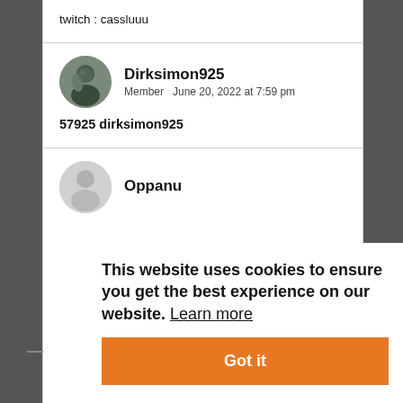twitch : cassluuu
Dirksimon925
Member   June 20, 2022 at 7:59 pm
57925 dirksimon925
Oppanu
This website uses cookies to ensure you get the best experience on our website. Learn more
Got it